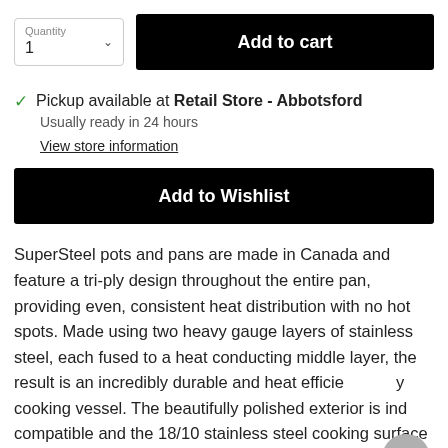[Figure (screenshot): Quantity selector box showing label 'Quantity' and value '1' with a dropdown arrow, next to a black 'Add to cart' button]
Pickup available at Retail Store - Abbotsford
Usually ready in 24 hours
View store information
Add to Wishlist
SuperSteel pots and pans are made in Canada and feature a tri-ply design throughout the entire pan, providing even, consistent heat distribution with no hot spots. Made using two heavy gauge layers of stainless steel, each fused to a heat conducting middle layer, the result is an incredibly durable and heat efficient cooking vessel. The beautifully polished exterior is induction compatible and the 18/10 stainless steel cooking surface will